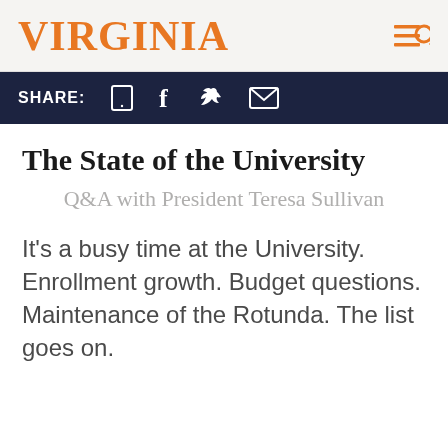VIRGINIA
SHARE:
The State of the University
Q&A with President Teresa Sullivan
It's a busy time at the University. Enrollment growth. Budget questions. Maintenance of the Rotunda. The list goes on.